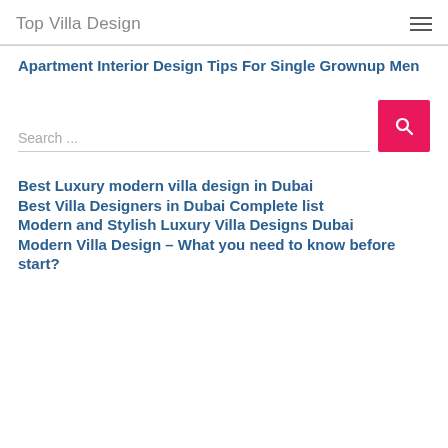Top Villa Design
Apartment Interior Design Tips For Single Grownup Men
Search ...
Best Luxury modern villa design in Dubai
Best Villa Designers in Dubai Complete list
Modern and Stylish Luxury Villa Designs Dubai
Modern Villa Design – What you need to know before start?